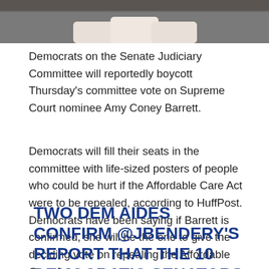[Figure (photo): A close-up photo of three white cylindrical objects (possibly bottles or containers) on a surface, cropped at the top of the page.]
Democrats on the Senate Judiciary Committee will reportedly boycott Thursday's committee vote on Supreme Court nominee Amy Coney Barrett.
Democrats will fill their seats in the committee with life-sized posters of people who could be hurt if the Affordable Care Act were to be repealed, according to HuffPost. Democrats have been saying if Barrett is confirmed, she will be the one to give the deciding vote on repealing the Affordable Care Act.
TWO DEM AIDES CONFIRM @JBENDERY'S REPORT THAT THE 10 DEMOCRATIC SENATORS ON THE JUDICIARY COMMITTEE WILL BOYCOTT THE COMMITTEE VOTE ON...